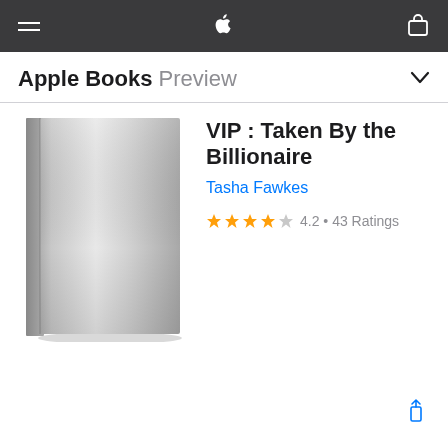Apple Books Preview
VIP : Taken By the Billionaire
Tasha Fawkes
4.2 • 43 Ratings
[Figure (illustration): Gray book cover with no title text, subtle gradient from light gray at top to darker gray at bottom, spine visible on left side]